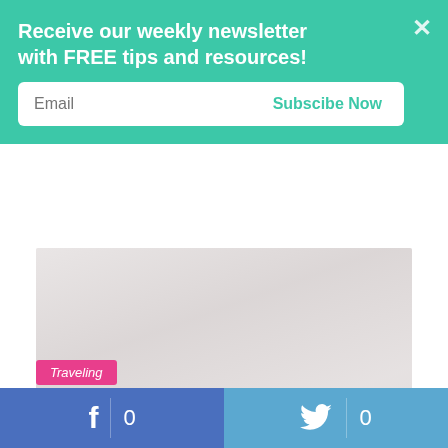Receive our weekly newsletter with FREE tips and resources!
Email
Subscibe Now
[Figure (photo): Faded/washed-out photo of people, partially obscured by newsletter overlay. Faint text 'HELP!' visible at bottom left.]
Traveling
f 0
0